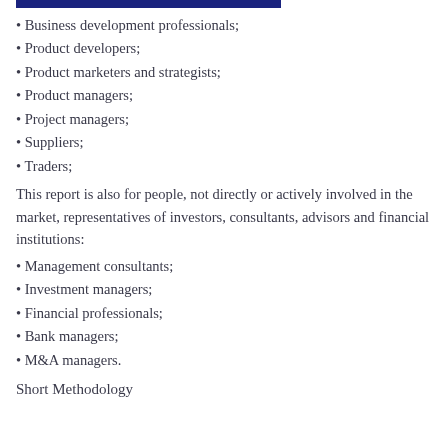Business development professionals;
Product developers;
Product marketers and strategists;
Product managers;
Project managers;
Suppliers;
Traders;
This report is also for people, not directly or actively involved in the market, representatives of investors, consultants, advisors and financial institutions:
Management consultants;
Investment managers;
Financial professionals;
Bank managers;
M&A managers.
Short Methodology